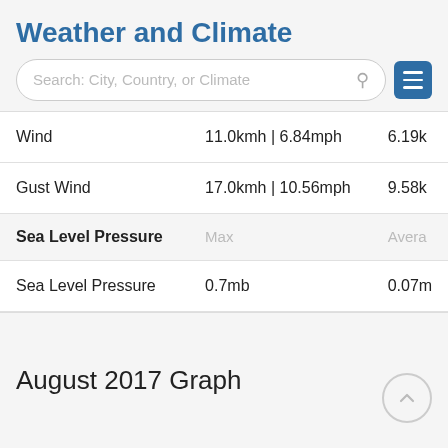Weather and Climate
|  | Max | Average |
| --- | --- | --- |
| Wind | 11.0kmh | 6.84mph | 6.19k |
| Gust Wind | 17.0kmh | 10.56mph | 9.58k |
| Sea Level Pressure | Max | Avera |
| Sea Level Pressure | 0.7mb | 0.07m |
August 2017 Graph